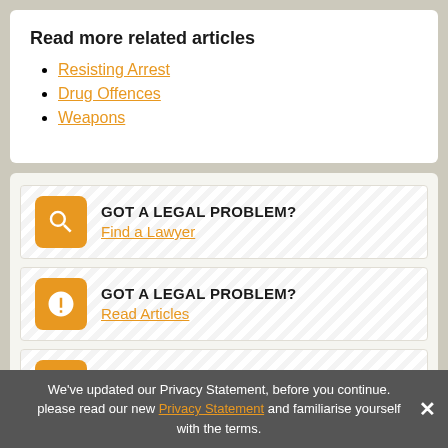Read more related articles
Resisting Arrest
Drug Offences
Weapons
GOT A LEGAL PROBLEM? Find a Lawyer
GOT A LEGAL PROBLEM? Read Articles
LAW FIRMS Your firm not listed? Click here
We've updated our Privacy Statement, before you continue. please read our new Privacy Statement and familiarise yourself with the terms.